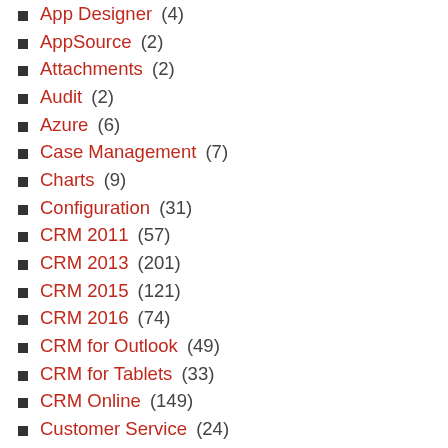App Designer (4)
AppSource (2)
Attachments (2)
Audit (2)
Azure (6)
Case Management (7)
Charts (9)
Configuration (31)
CRM 2011 (57)
CRM 2013 (201)
CRM 2015 (121)
CRM 2016 (74)
CRM for Outlook (49)
CRM for Tablets (33)
CRM Online (149)
Customer Service (24)
Customization (177)
Dashboard (1)
Dataverse (39)